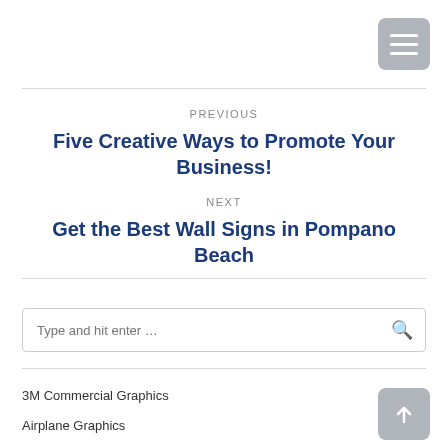[Figure (other): Hamburger menu button icon (three horizontal white lines on gray rounded rectangle background)]
PREVIOUS
Five Creative Ways to Promote Your Business!
NEXT
Get the Best Wall Signs in Pompano Beach
[Figure (other): Search input box with magnifying glass icon]
3M Commercial Graphics
Airplane Graphics
[Figure (other): Back to top button with upward arrow icon on gray rounded rectangle background]